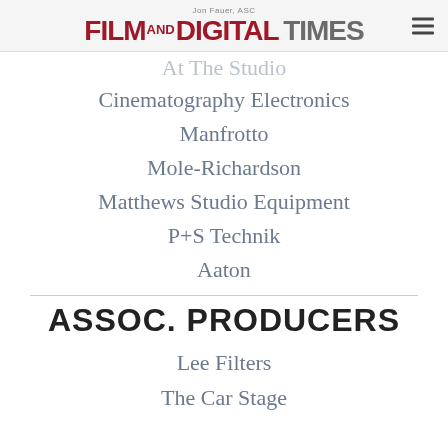Jon Fauer, ASC — FILM AND DIGITAL TIMES
Cinematography Electronics
Manfrotto
Mole-Richardson
Matthews Studio Equipment
P+S Technik
Aaton
ASSOC. PRODUCERS
Lee Filters
The Car Stage